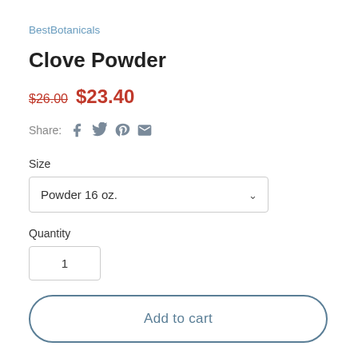BestBotanicals
Clove Powder
$26.00 $23.40
Share:
Size
Powder 16 oz.
Quantity
1
Add to cart